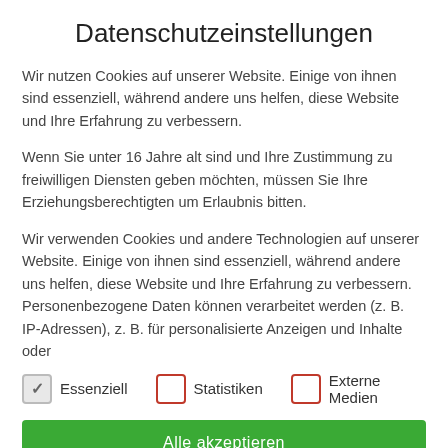Datenschutzeinstellungen
Wir nutzen Cookies auf unserer Website. Einige von ihnen sind essenziell, während andere uns helfen, diese Website und Ihre Erfahrung zu verbessern.
Wenn Sie unter 16 Jahre alt sind und Ihre Zustimmung zu freiwilligen Diensten geben möchten, müssen Sie Ihre Erziehungsberechtigten um Erlaubnis bitten.
Wir verwenden Cookies und andere Technologien auf unserer Website. Einige von ihnen sind essenziell, während andere uns helfen, diese Website und Ihre Erfahrung zu verbessern. Personenbezogene Daten können verarbeitet werden (z. B. IP-Adressen), z. B. für personalisierte Anzeigen und Inhalte oder
Essenziell
Statistiken
Externe Medien
Alle akzeptieren
exceeding the distortion
Weiterlesen
Low Pass Filter
Translate